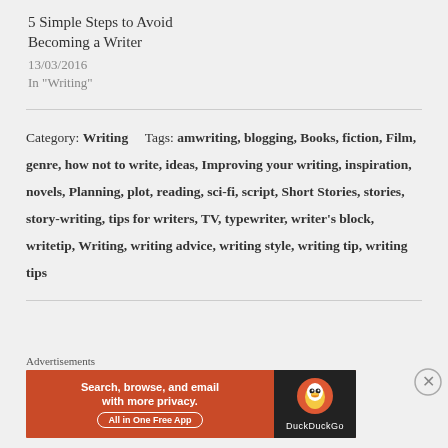5 Simple Steps to Avoid Becoming a Writer
13/03/2016
In "Writing"
Category: Writing     Tags: amwriting, blogging, Books, fiction, Film, genre, how not to write, ideas, Improving your writing, inspiration, novels, Planning, plot, reading, sci-fi, script, Short Stories, stories, story-writing, tips for writers, TV, typewriter, writer's block, writetip, Writing, writing advice, writing style, writing tip, writing tips
[Figure (other): DuckDuckGo advertisement banner: Search, browse, and email with more privacy. All in One Free App. Shows DuckDuckGo logo on dark background.]